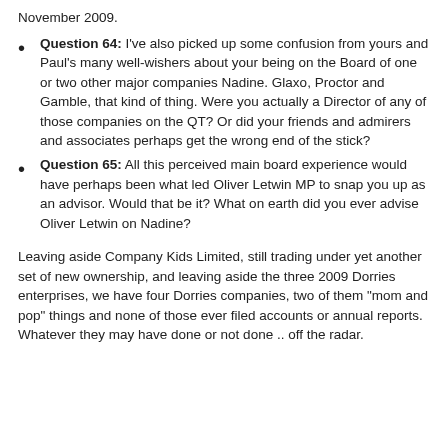November 2009.
Question 64: I've also picked up some confusion from yours and Paul's many well-wishers about your being on the Board of one or two other major companies Nadine. Glaxo, Proctor and Gamble, that kind of thing. Were you actually a Director of any of those companies on the QT? Or did your friends and admirers and associates perhaps get the wrong end of the stick?
Question 65: All this perceived main board experience would have perhaps been what led Oliver Letwin MP to snap you up as an advisor. Would that be it? What on earth did you ever advise Oliver Letwin on Nadine?
Leaving aside Company Kids Limited, still trading under yet another set of new ownership, and leaving aside the three 2009 Dorries enterprises, we have four Dorries companies, two of them "mom and pop" things and none of those ever filed accounts or annual reports. Whatever they may have done or not done .. off the radar.